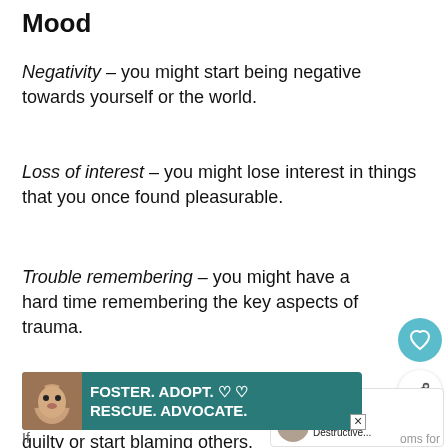Mood
Negativity – you might start being negative towards yourself or the world.
Loss of interest – you might lose interest in things that you once found pleasurable.
Trouble remembering – you might have a hard time remembering the key aspects of trauma.
Distorted feelings – you might start guilty or start blaming others.
[Figure (screenshot): Heart/save icon button (teal circle with heart outline)]
[Figure (screenshot): Share icon button (white circle with share symbol)]
[Figure (screenshot): What's Next widget showing thumbnail and text: WHAT'S NEXT → How Do Destructive...]
[Figure (screenshot): Ad banner: dog photo on left, teal background, text FOSTER. ADOPT. RESCUE. ADVOCATE. with close button]
If